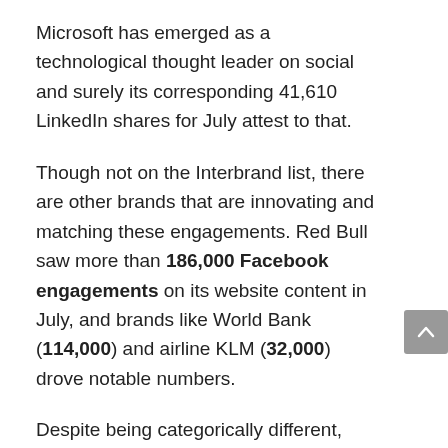Microsoft has emerged as a technological thought leader on social and surely its corresponding 41,610 LinkedIn shares for July attest to that.
Though not on the Interbrand list, there are other brands that are innovating and matching these engagements. Red Bull saw more than 186,000 Facebook engagements on its website content in July, and brands like World Bank (114,000) and airline KLM (32,000) drove notable numbers.
Despite being categorically different, there are clear winners that surface industry by industry. So, are there any broad strategies